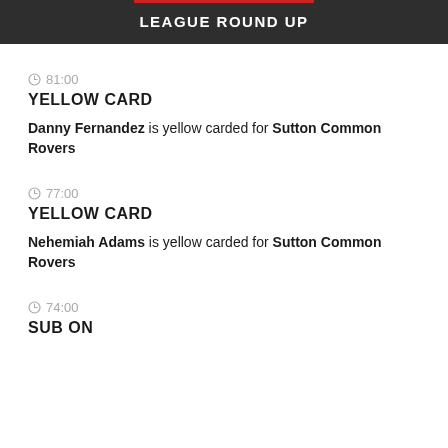LEAGUE ROUND UP
81:00 YELLOW CARD — Danny Fernandez is yellow carded for Sutton Common Rovers
77:00 YELLOW CARD — Nehemiah Adams is yellow carded for Sutton Common Rovers
74:00 SUB ON